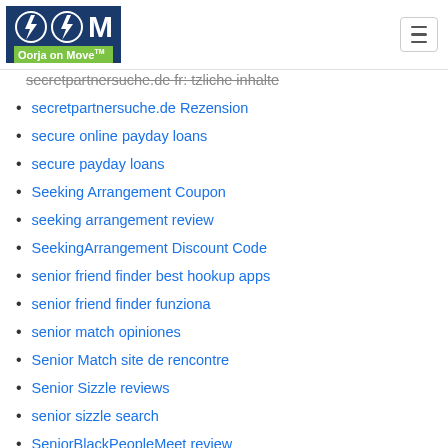Oorja on Move
secretpartnersuche.de fr: tzliche inhalte
secretpartnersuche.de Rezension
secure online payday loans
secure payday loans
Seeking Arrangement Coupon
seeking arrangement review
SeekingArrangement Discount Code
senior friend finder best hookup apps
senior friend finder funziona
senior match opiniones
Senior Match site de rencontre
Senior Sizzle reviews
senior sizzle search
SeniorBlackPeopleMeet review
SeniorBlackPeopleMeet reviews
seniordates.net online-dating-for-free